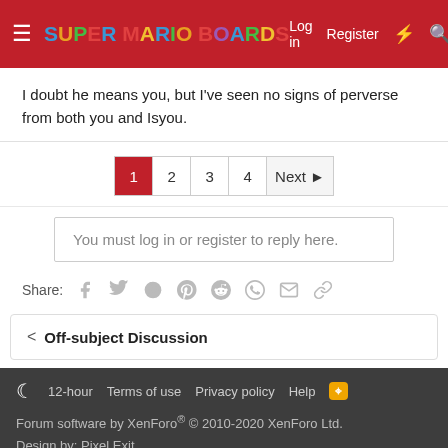Super Mario Boards – Log in  Register
I doubt he means you, but I've seen no signs of perverse from both you and Isyou.
Pagination: 1 2 3 4 Next
You must log in or register to reply here.
Share:
< Off-subject Discussion
12-hour  Terms of use  Privacy policy  Help
Forum software by XenForo® © 2010-2020 XenForo Ltd.
Design by: Pixel Exit